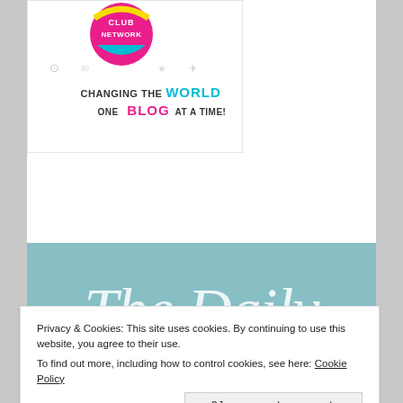[Figure (logo): Blog Club Network banner: circular magenta/yellow logo with 'CLUB NETWORK' text. Below: 'CHANGING THE WORLD ONE BLOG AT A TIME!' on white background with decorative icons.]
[Figure (illustration): Teal/muted blue-green widget box with white text reading 'The Daily' in large italic serif font, partially cut off.]
Privacy & Cookies: This site uses cookies. By continuing to use this website, you agree to their use.
To find out more, including how to control cookies, see here: Cookie Policy
Close and accept